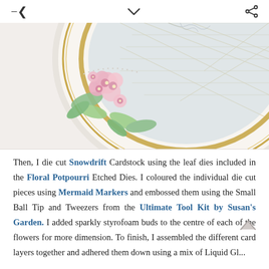[Figure (photo): Close-up photo of a decorative plate or cake with pink floral sugar decorations and green leaves, with gold trim and white lattice design. Small pearl/crystal embellishments in the foreground.]
Then, I die cut Snowdrift Cardstock using the leaf dies included in the Floral Potpourri Etched Dies. I coloured the individual die cut pieces using Mermaid Markers and embossed them using the Small Ball Tip and Tweezers from the Ultimate Tool Kit by Susan's Garden. I added sparkly styrofoam buds to the centre of each of the flowers for more dimension. To finish, I assembled the different card layers together and adhered them down using a mix of Liquid Gl...